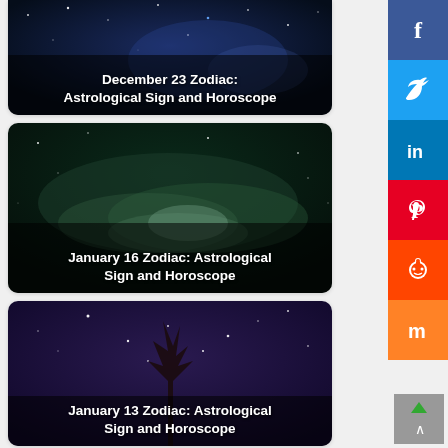[Figure (photo): Night sky with stars - December 23 Zodiac card, partially cropped at top]
[Figure (photo): Milky Way night sky with clouds - January 16 Zodiac card]
[Figure (photo): Purple night sky with stars and silhouetted tree - January 13 Zodiac card]
[Figure (infographic): Social media share sidebar with Facebook, Twitter, LinkedIn, Pinterest, Reddit, Mix buttons and back-to-top button]